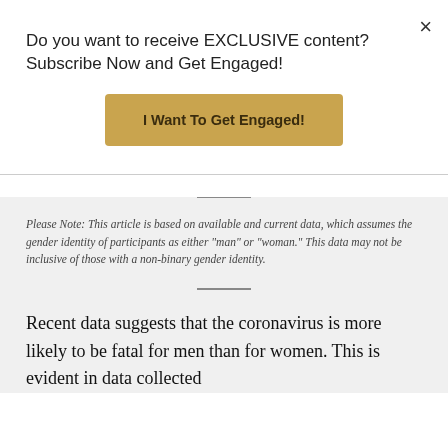Do you want to receive EXCLUSIVE content?Subscribe Now and Get Engaged!
[Figure (other): Gold/tan CTA button labeled 'I Want To Get Engaged!']
Please Note: This article is based on available and current data, which assumes the gender identity of participants as either "man" or "woman." This data may not be inclusive of those with a non-binary gender identity.
Recent data suggests that the coronavirus is more likely to be fatal for men than for women. This is evident in data collected